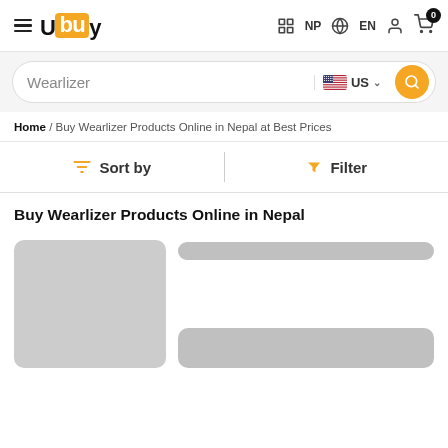Ubuy — NP EN, cart 0
Wearlizer — US search bar
Home / Buy Wearlizer Products Online in Nepal at Best Prices
Sort by   Filter
Buy Wearlizer Products Online in Nepal
[Figure (screenshot): Loading product card placeholder with gray image box and gray title/price placeholder bars]